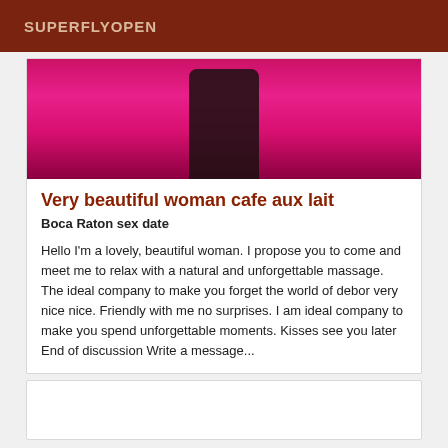SUPERFLYOPEN
[Figure (photo): A person wearing a pink patterned background, close-up torso shot, dark skin, appears to be a promotional/personal ad image]
Very beautiful woman cafe aux lait
Boca Raton sex date
Hello I'm a lovely, beautiful woman. I propose you to come and meet me to relax with a natural and unforgettable massage. The ideal company to make you forget the world of debor very nice nice. Friendly with me no surprises. I am ideal company to make you spend unforgettable moments. Kisses see you later End of discussion Write a message...